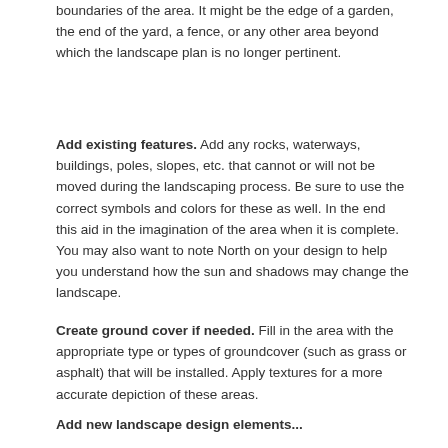boundaries of the area. It might be the edge of a garden, the end of the yard, a fence, or any other area beyond which the landscape plan is no longer pertinent.
Add existing features. Add any rocks, waterways, buildings, poles, slopes, etc. that cannot or will not be moved during the landscaping process. Be sure to use the correct symbols and colors for these as well. In the end this aid in the imagination of the area when it is complete. You may also want to note North on your design to help you understand how the sun and shadows may change the landscape.
Create ground cover if needed. Fill in the area with the appropriate type or types of groundcover (such as grass or asphalt) that will be installed. Apply textures for a more accurate depiction of these areas.
Add new landscape design elements...